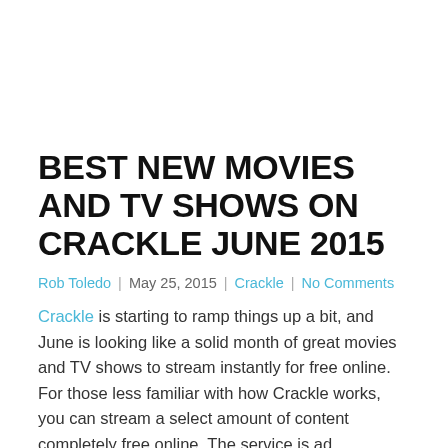BEST NEW MOVIES AND TV SHOWS ON CRACKLE JUNE 2015
Rob Toledo | May 25, 2015 | Crackle | No Comments
Crackle is starting to ramp things up a bit, and June is looking like a solid month of great movies and TV shows to stream instantly for free online. For those less familiar with how Crackle works, you can stream a select amount of content completely free online. The service is ad supported, so the below content will have occasional ad